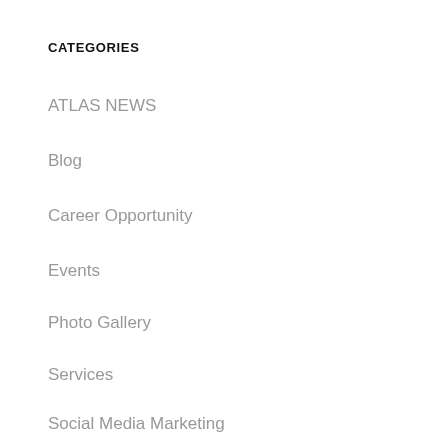CATEGORIES
ATLAS NEWS
Blog
Career Opportunity
Events
Photo Gallery
Services
Social Media Marketing
What's New!
WordPress
META